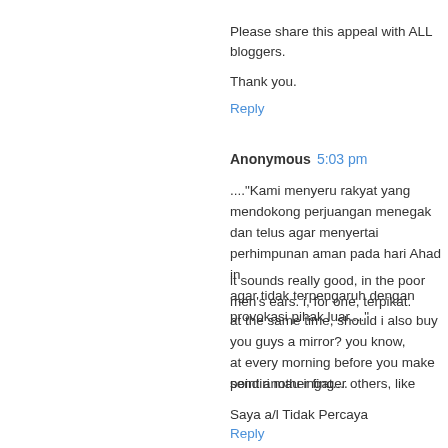Please share this appeal with ALL bloggers.
Thank you.
Reply
Anonymous  5:03 pm
...."Kami menyeru rakyat yang mendokong perjuangan menegak... dan telus agar menyertai perhimpunan aman pada hari Ahad in... agar tidak terpengaruh dengan provokasi pihak luar...."
it sounds really good, in the poor men's ears. i, for one, terpikat.
at the same time, should i also buy you guys a mirror? you know,... at every morning before you make point another finger others, like...
sendiri mau ingat....
Saya a/l Tidak Percaya
Reply
Anonymous  5:48 pm